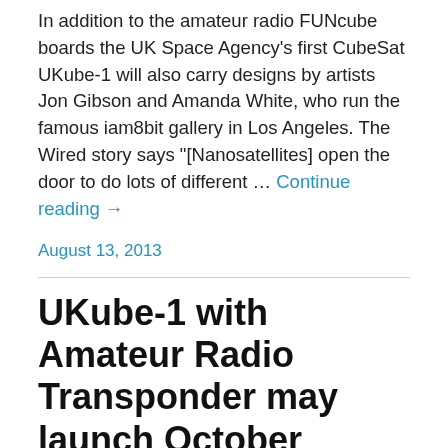In addition to the amateur radio FUNcube boards the UK Space Agency's first CubeSat UKube-1 will also carry designs by artists Jon Gibson and Amanda White, who run the famous iam8bit gallery in Los Angeles. The Wired story says "[Nanosatellites] open the door to do lots of different … Continue reading →
August 13, 2013
UKube-1 with Amateur Radio Transponder may launch October
BBC News is reporting that the UK Space Agency's first CubeSat UKube-1, being built by Clyde Space in Glasgow, may launch in late October 2013. Clyde Space Senior